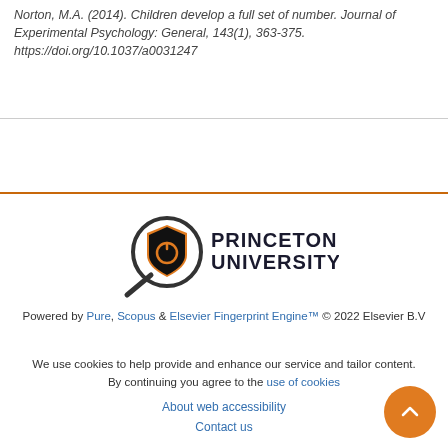Norton, M.A. (2014). Children develop a full set of number. Journal of Experimental Psychology: General, 143(1), 363-375. https://doi.org/10.1037/a0031247
[Figure (logo): Princeton University logo with magnifying glass icon and shield, text reads PRINCETON UNIVERSITY]
Powered by Pure, Scopus & Elsevier Fingerprint Engine™ © 2022 Elsevier B.V
We use cookies to help provide and enhance our service and tailor content. By continuing you agree to the use of cookies
About web accessibility
Contact us